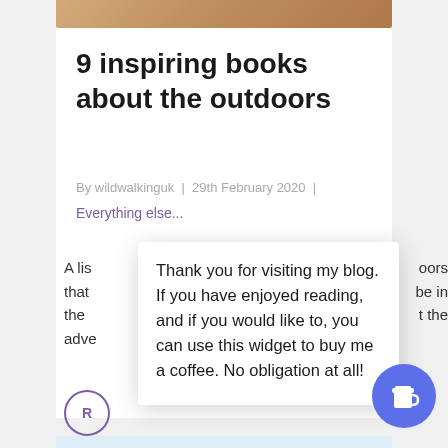[Figure (photo): Top portion of an outdoor/nature photo, partially cropped, showing warm brown tones]
9 inspiring books about the outdoors
By wildwalkinguk | 29th February 2020 |
Everything else...
A lis[t of books about the out]doors that[ can inspire you t]o be in the [outdoors and appreciate ]t the adve[nture...]
Thank you for visiting my blog. If you have enjoyed reading, and if you would like to, you can use this widget to buy me a coffee. No obligation at all!
[Figure (illustration): Purple/blue circular button with a coffee cup icon in white]